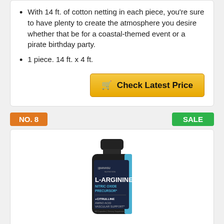With 14 ft. of cotton netting in each piece, you're sure to have plenty to create the atmosphere you desire whether that be for a coastal-themed event or a pirate birthday party.
1 piece. 14 ft. x 4 ft.
Check Latest Price
NO. 8
SALE
[Figure (photo): Havasu Nutrition L-Arginine supplement bottle — dark bottle with blue and black label showing L-ARGININE NITRIC OXIDE PRECURSOR, +CITRULLINE AMINO ACID VASCULAR SUPPORT]